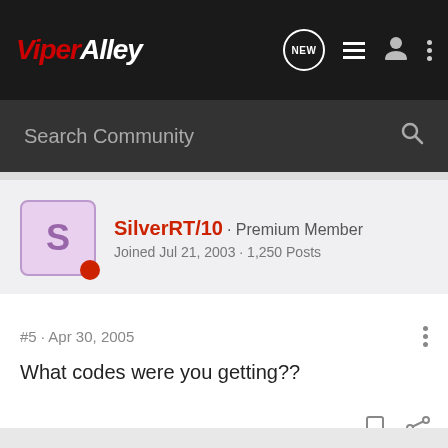ViperAlley
Search Community
SilverRT/10 · Premium Member
Joined Jul 21, 2003 · 1,250 Posts
#5 · Apr 30, 2005
What codes were you getting??